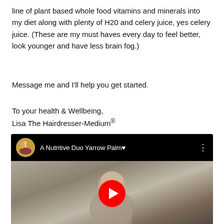line of plant based whole food vitamins and minerals into my diet along with plenty of H20 and celery juice, yes celery juice. (These are my must haves every day to feel better, look younger and have less brain fog.)
Message me and I'll help you get started.
To your health & Wellbeing,
Lisa The Hairdresser-Medium®
[Figure (screenshot): YouTube video thumbnail showing a woman with blonde hair in the video header with avatar, title 'A Nutritive Duo Yarrow Palm♥', and a YouTube play button overlay on a video frame showing a person indoors]